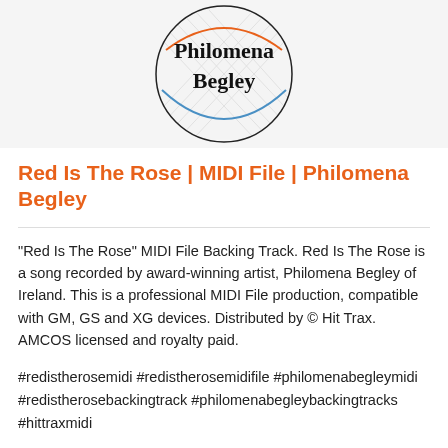[Figure (logo): Circular logo for Philomena Begley with decorative red and blue arc lines and crosshatch pattern, text 'Philomena Begley' in the center]
Red Is The Rose | MIDI File | Philomena Begley
"Red Is The Rose" MIDI File Backing Track. Red Is The Rose is a song recorded by award-winning artist, Philomena Begley of Ireland. This is a professional MIDI File production, compatible with GM, GS and XG devices. Distributed by © Hit Trax. AMCOS licensed and royalty paid.
#redistherosemidi #redistherosemidifile #philomenabegleymidi #redistherosebackingtrack #philomenabegleybackingtracks #hittraxmidi